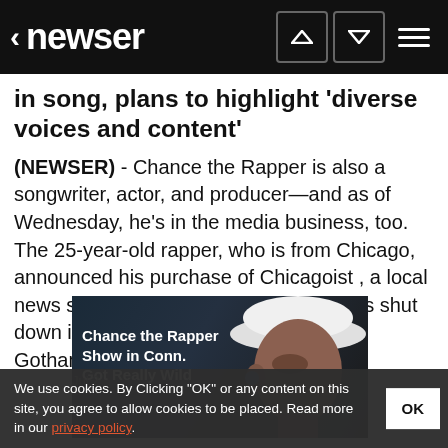newser
in song, plans to highlight 'diverse voices and content'
(NEWSER) - Chance the Rapper is also a songwriter, actor, and producer—and as of Wednesday, he's in the media business, too. The 25-year-old rapper, who is from Chicago, announced his purchase of Chicagoist , a local news site that former owner Joe Ricketts shut down in November 2017 along with Gothamist,...
[Figure (photo): Chance the Rapper performing, wearing a white cap, with text overlay: Chance the Rapper Show in Conn. Got Really Wild]
We use cookies. By Clicking "OK" or any content on this site, you agree to allow cookies to be placed. Read more in our privacy policy.